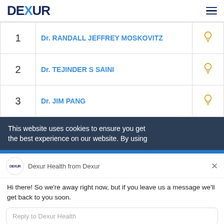DEXUR
| # | Name |  |
| --- | --- | --- |
| 1 | Dr. RANDALL JEFFREY MOSKOVITZ | 💡 |
| 2 | Dr. TEJINDER S SAINI | 💡 |
| 3 | Dr. JIM PANG | 💡 |
This website uses cookies to ensure you get the best experience on our website. By using
Dexur Health from Dexur
Hi there! So we're away right now, but if you leave us a message we'll get back to you soon.
Reply to Dexur Health
Chat ⚡ by Drift